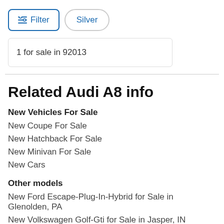Filter | Silver
1 for sale in 92013
Related Audi A8 info
New Vehicles For Sale
New Coupe For Sale
New Hatchback For Sale
New Minivan For Sale
New Cars
Other models
New Ford Escape-Plug-In-Hybrid for Sale in Glenolden, PA
New Volkswagen Golf-Gti for Sale in Jasper, IN
New Lexus NX 350H for Sale in Lewisburg, PA